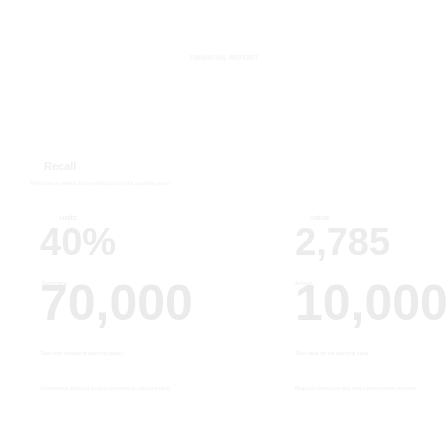[Figure (other): Faint white-on-white financial report page with large numbers and text, nearly invisible against white background. Shows recall statistics and large monetary/numerical figures arranged in two columns.]